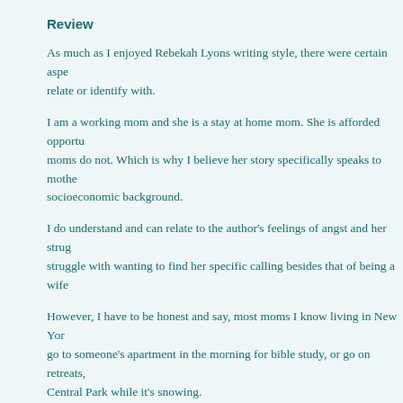Review
As much as I enjoyed Rebekah Lyons writing style, there were certain aspects I could not relate or identify with.
I am a working mom and she is a stay at home mom. She is afforded opportunities that working moms do not. Which is why I believe her story specifically speaks to mothers of a certain socioeconomic background.
I do understand and can relate to the author's feelings of angst and her struggle... struggle with wanting to find her specific calling besides that of being a wife...
However, I have to be honest and say, most moms I know living in New York... go to someone's apartment in the morning for bible study, or go on retreats,... Central Park while it's snowing.
So if you are not of that lifestyle or demographic, it's kind of hard to relate to the author's shoes.
However, the author's story is hers and I respect her life and experiences. I believe she was candid, authentic and truthful. She didn't hide, she exposed a lot of herself a... I also find her to be a talented writer, so on that front, I enjoyed reading her...
If there was one word I could use to describe her book, it would be surrender...